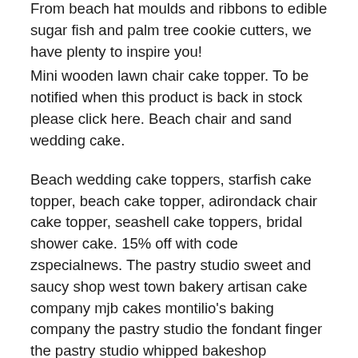From beach hat moulds and ribbons to edible sugar fish and palm tree cookie cutters, we have plenty to inspire you!
Mini wooden lawn chair cake topper. To be notified when this product is back in stock please click here. Beach chair and sand wedding cake.
Beach wedding cake toppers, starfish cake topper, beach cake topper, adirondack chair cake topper, seashell cake toppers, bridal shower cake. 15% off with code zspecialnews. The pastry studio sweet and saucy shop west town bakery artisan cake company mjb cakes montilio's baking company the pastry studio the fondant finger the pastry studio whipped bakeshop
Brand new unfinished natural (or painted a lightly